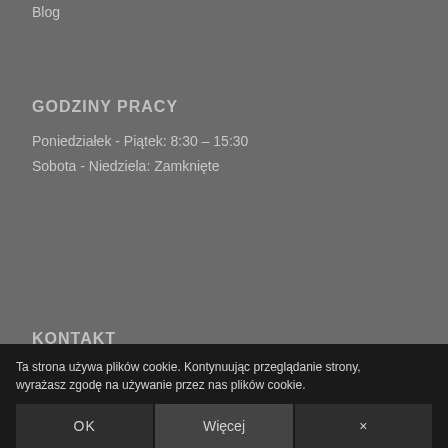Blog
GODZINY PRACY
Poniedziałek - Piątek: 8:30 – 15:30
Sobota - Niedziela: Zamknięte
KONTAKT
Adres (pin icon)
DKM z.o.o.
ul. Ma... lok 49
Ta strona używa plików cookie. Kontynuując przeglądanie strony, wyrażasz zgodę na używanie przez nas plików cookie.
OK
Więcej
×